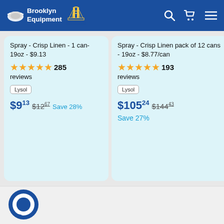Brooklyn Equipment
Spray - Crisp Linen - 1 can- 19oz - $9.13
★★★★★ 285 reviews
Lysol
$9.13  $12.67  Save 28%
Spray - Crisp Linen pack of 12 cans - 19oz - $8.77/can
★★★★★ 193 reviews
Lysol
$105.24  $144.43 Save 27%
[Figure (logo): Brooklyn Equipment logo with face mask and bridge icon]
[Figure (other): Chat bubble icon]